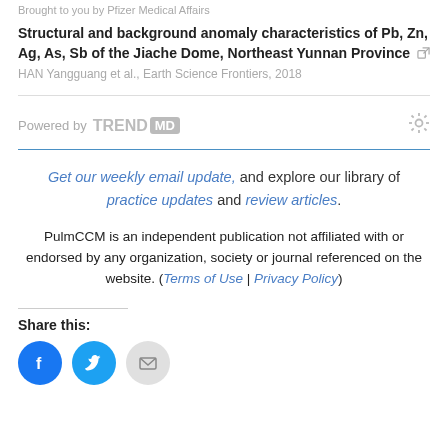Brought to you by Pfizer Medical Affairs
Structural and background anomaly characteristics of Pb, Zn, Ag, As, Sb of the Jiache Dome, Northeast Yunnan Province
HAN Yangguang et al., Earth Science Frontiers, 2018
[Figure (logo): Powered by TRENDMD logo with gear icon]
Get our weekly email update, and explore our library of practice updates and review articles.
PulmCCM is an independent publication not affiliated with or endorsed by any organization, society or journal referenced on the website. (Terms of Use | Privacy Policy)
Share this:
[Figure (infographic): Three social share buttons: Facebook (blue circle), Twitter (blue circle), Email (grey circle)]